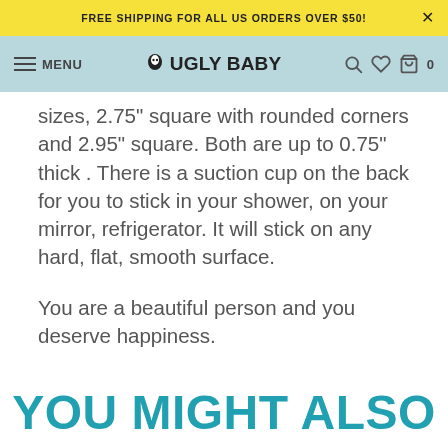FREE SHIPPING FOR ALL US ORDERS OVER $50!
MENU  UGLY BABY  0
sizes, 2.75" square with rounded corners and 2.95" square. Both are up to 0.75" thick . There is a suction cup on the back for you to stick in your shower, on your mirror, refrigerator. It will stick on any hard, flat, smooth surface.
You are a beautiful person and you deserve happiness.
YOU MIGHT ALSO